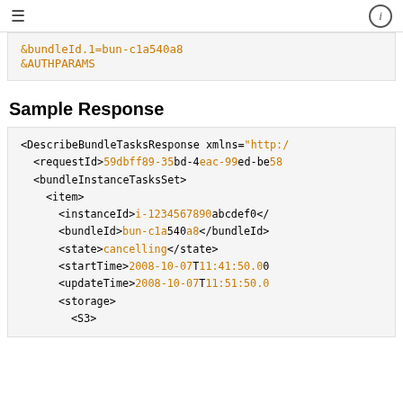≡  ⓘ
&bundleId.1=bun-c1a540a8
&AUTHPARAMS
Sample Response
<DescribeBundleTasksResponse xmlns="http://<requestId>59dbff89-35bd-4eac-99ed-be58<bundleInstanceTasksSet>
    <item>
        <instanceId>i-1234567890abcdef0</
        <bundleId>bun-c1a540a8</bundleId>
        <state>cancelling</state>
        <startTime>2008-10-07T11:41:50.00
        <updateTime>2008-10-07T11:51:50.0
        <storage>
            <S3>